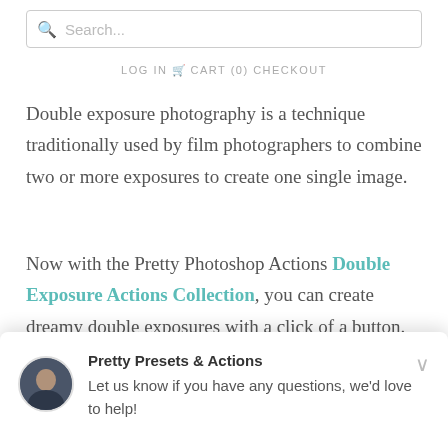Search...
LOG IN  CART (0)  CHECKOUT
Double exposure photography is a technique traditionally used by film photographers to combine two or more exposures to create one single image.
Now with the Pretty Photoshop Actions Double Exposure Actions Collection, you can create dreamy double exposures with a click of a button.  Your creativity is limited only by your imagination!  Includes Double Exposure Actions, Color Overlay Actions, and BO
Pretty Presets & Actions
Let us know if you have any questions, we'd love to help!